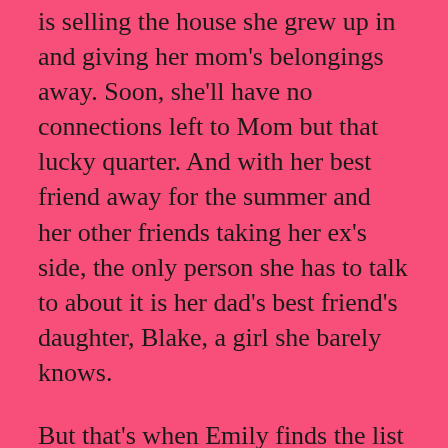is selling the house she grew up in and giving her mom's belongings away. Soon, she'll have no connections left to Mom but that lucky quarter. And with her best friend away for the summer and her other friends taking her ex's side, the only person she has to talk to about it is her dad's best friend's daughter, Blake, a girl she barely knows.
But that's when Emily finds the list—her mom's senior year summer bucket list—buried in a box in the back of her closet. When Blake suggests that Emily take it on as a challenge, the two set off on a journey to tick each box and help Emily face her fears before everything changes As they go further down the list, Emily